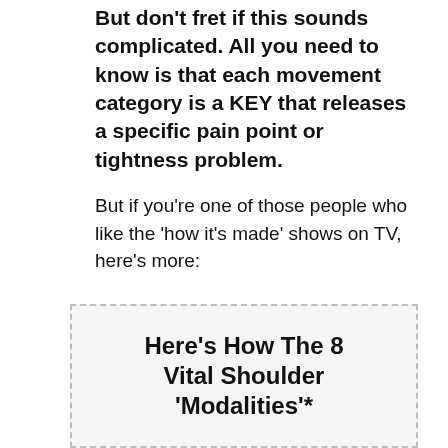But don't fret if this sounds complicated. All you need to know is that each movement category is a KEY that releases a specific pain point or tightness problem.
But if you’re one of those people who like the ‘how it’s made’ shows on TV, here’s more:
Here’s How The 8 Vital Shoulder ‘Modalities’*